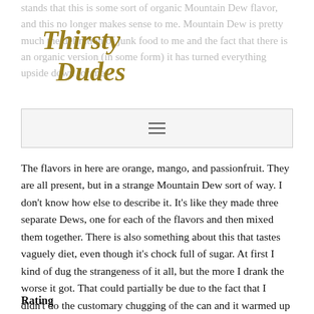stands that this is some sort of organic Mountain Dew flavor, and this no longer makes sense to me. Mountain Dew is pretty much the definition of junk food to me and the fact that there is an organic version (in some form) it has turned everything upside down for me.
[Figure (logo): Thirsty Dudes cursive logo in gold/olive color]
[Figure (other): Navigation bar with hamburger menu icon]
The flavors in here are orange, mango, and passionfruit. They are all present, but in a strange Mountain Dew sort of way. I don't know how else to describe it. It's like they made three separate Dews, one for each of the flavors and then mixed them together. There is also something about this that tastes vaguely diet, even though it's chock full of sugar. At first I kind of dug the strangeness of it all, but the more I drank the worse it got. That could partially be due to the fact that I didn't do the customary chugging of the can and it warmed up over time, but the quality of the flavor definitely decreased for me.
Rating